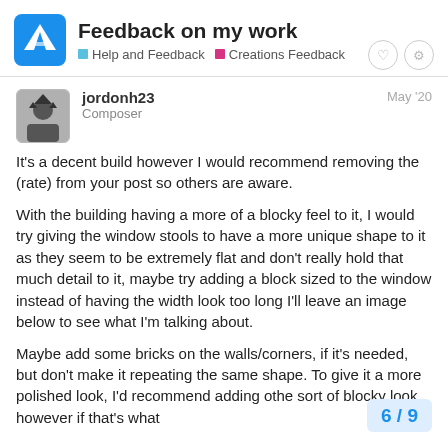Feedback on my work | Help and Feedback | Creations Feedback
jordonh23
Composer
May '20
It's a decent build however I would recommend removing the (rate) from your post so others are aware.
With the building having a more of a blocky feel to it, I would try giving the window stools to have a more unique shape to it as they seem to be extremely flat and don't really hold that much detail to it, maybe try adding a block sized to the window instead of having the width look too long I'll leave an image below to see what I'm talking about.
Maybe add some bricks on the walls/corners, if it's needed, but don't make it repeating the same shape. To give it a more polished look, I'd recommend adding othe sort of blocky look, however if that's what
6 / 9